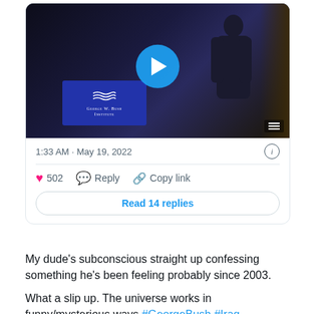[Figure (screenshot): Tweet card showing a video thumbnail of George W. Bush at a George W. Bush Institute podium, with a blue play button. Tweet metadata: 1:33 AM · May 19, 2022. Actions: 502 likes, Reply, Copy link. Button: Read 14 replies.]
My dude's subconscious straight up confessing something he's been feeling probably since 2003.
What a slip up. The universe works in funny/mysterious ways.#GeorgeBush #Iraq